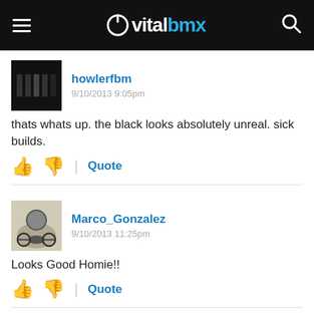vitalbmx
howlerfbm
9/10/2013 9:05pm
thats whats up. the black looks absolutely unreal. sick builds.
Quote
Marco_Gonzalez
9/10/2013 11:25pm
Looks Good Homie!!
Quote
tremelo
9/10/2013 11:33pm